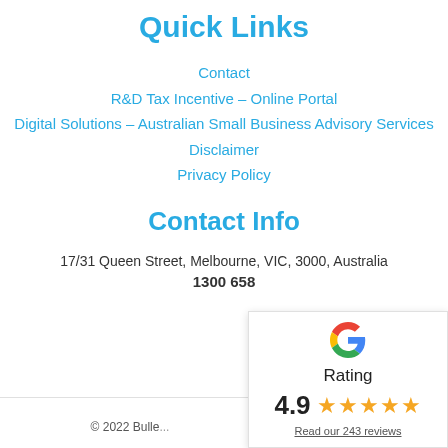Quick Links
Contact
R&D Tax Incentive – Online Portal
Digital Solutions – Australian Small Business Advisory Services
Disclaimer
Privacy Policy
Contact Info
17/31 Queen Street, Melbourne, VIC, 3000, Australia
1300 658
[Figure (infographic): Google rating popup showing the Google G logo, 'Rating' label, 4.9 score with 5 gold stars, and 'Read our 243 reviews' link]
© 2022 Bulle...